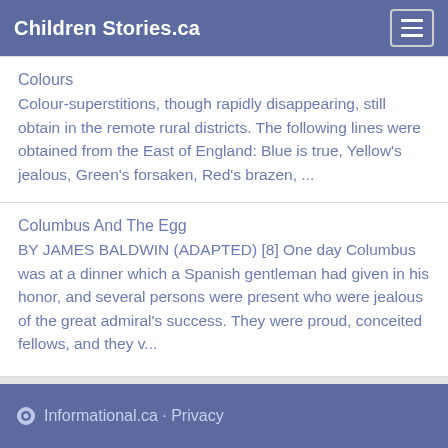Children Stories.ca
Colours
Colour-superstitions, though rapidly disappearing, still obtain in the remote rural districts. The following lines were obtained from the East of England: Blue is true, Yellow's jealous, Green's forsaken, Red's brazen, ...
Columbus And The Egg
BY JAMES BALDWIN (ADAPTED) [8] One day Columbus was at a dinner which a Spanish gentleman had given in his honor, and several persons were present who were jealous of the great admiral's success. They were proud, conceited fellows, and they v...
Informational.ca - Privacy